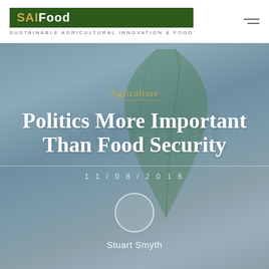[Figure (logo): SAIFood logo — green rectangle with white text 'SAIFood' (SAI in gold, Food in white), tagline 'SUSTAINABLE AGRICULTURAL INNOVATION & FOOD']
Politics More Important Than Food Security
Agriculture
11/08/2016
Stuart Smyth